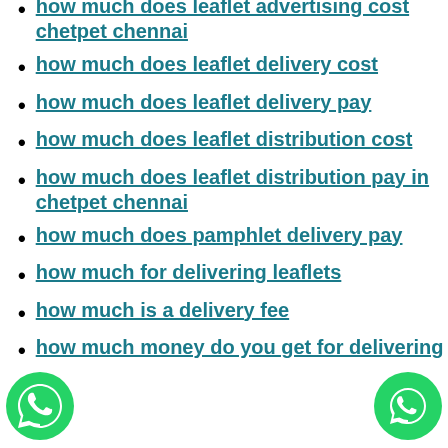how much does leaflet advertising cost chetpet chennai
how much does leaflet delivery cost
how much does leaflet delivery pay
how much does leaflet distribution cost
how much does leaflet distribution pay in chetpet chennai
how much does pamphlet delivery pay
how much for delivering leaflets
how much is a delivery fee
how much money do you get for delivering